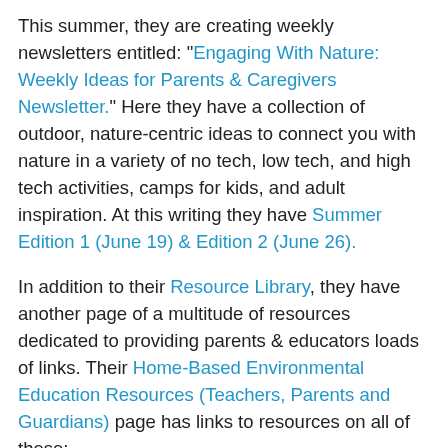This summer, they are creating weekly newsletters entitled: "Engaging With Nature: Weekly Ideas for Parents & Caregivers Newsletter." Here they have a collection of outdoor, nature-centric ideas to connect you with nature in a variety of no tech, low tech, and high tech activities, camps for kids, and adult inspiration. At this writing they have Summer Edition 1 (June 19) & Edition 2 (June 26).
In addition to their Resource Library, they have another page of a multitude of resources dedicated to providing parents & educators loads of links. Their Home-Based Environmental Education Resources (Teachers, Parents and Guardians) page has links to resources on all of these:
[Figure (logo): Green Schools logo: a blue oak tree inside a green circle with 'GREEN SCHOOLS' text at top, green grass/earth at the bottom of the circle.]